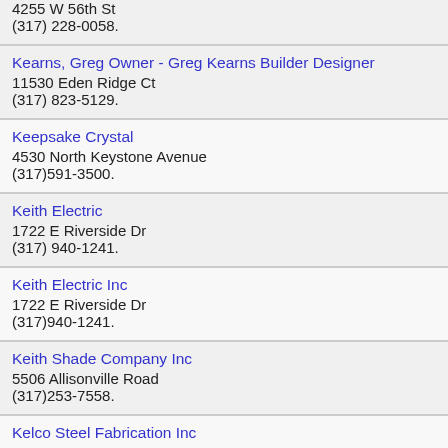4255 W 56th St
(317) 228-0058.
Kearns, Greg Owner - Greg Kearns Builder Designer
11530 Eden Ridge Ct
(317) 823-5129.
Keepsake Crystal
4530 North Keystone Avenue
(317)591-3500.
Keith Electric
1722 E Riverside Dr
(317) 940-1241.
Keith Electric Inc
1722 E Riverside Dr
(317)940-1241.
Keith Shade Company Inc
5506 Allisonville Road
(317)253-7558.
Kelco Steel Fabrication Inc
3827 W Troy Ave